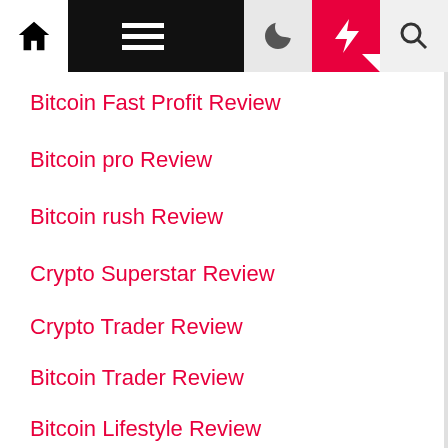Navigation bar with home, menu, moon, bolt, search icons
Bitcoin Fast Profit Review
Bitcoin pro Review
Bitcoin rush Review
Crypto Superstar Review
Crypto Trader Review
Bitcoin Trader Review
Bitcoin Lifestyle Review
1k daily profit Review
Cryptosoft Review
Bitcoin Up Review
Top 10 affordable earbuds